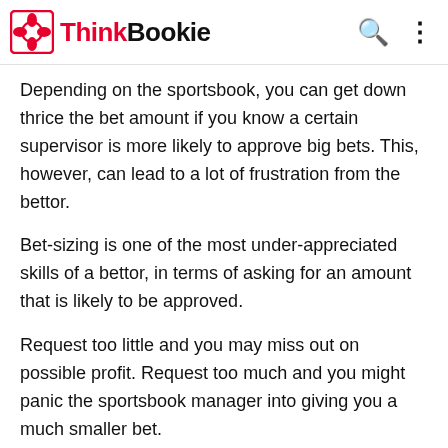ThinkBookie
Depending on the sportsbook, you can get down thrice the bet amount if you know a certain supervisor is more likely to approve big bets. This, however, can lead to a lot of frustration from the bettor.
Bet-sizing is one of the most under-appreciated skills of a bettor, in terms of asking for an amount that is likely to be approved.
Request too little and you may miss out on possible profit. Request too much and you might panic the sportsbook manager into giving you a much smaller bet.
Most issues arise from bettors when they feel as if they are being taken advantage of or being treated unfairly by